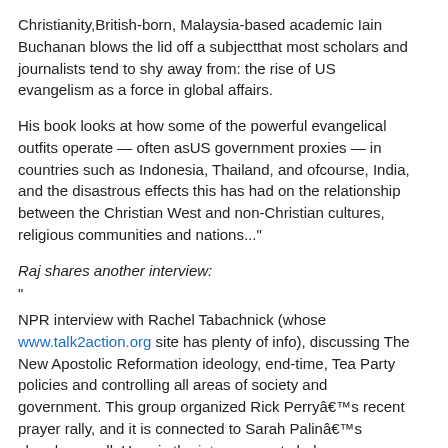Christianity,British-born, Malaysia-based academic Iain Buchanan blows the lid off a subjectthat most scholars and journalists tend to shy away from: the rise of US evangelism as a force in global affairs.
His book looks at how some of the powerful evangelical outfits operate — often asUS government proxies — in countries such as Indonesia, Thailand, and ofcourse, India, and the disastrous effects this has had on the relationship between the Christian West and non-Christian cultures, religious communities and nations..."
Raj shares another interview:
"
NPR interview with Rachel Tabachnick (whose www.talk2action.org site has plenty of info), discussing The New Apostolic Reformation ideology, end-time, Tea Party policies and controlling all areas of society and government. This group organized Rick Perryâs recent prayer rally, and it is connected to Sarah Palinâs church as well. Here is the intro, excerpts below:
The Evangelicals Engaged In Spiritual Warfare
An emerging Christian movement that seeks to take dominion over politics, business and culture in preparation for the end times and the return of Jesus, is becoming more of a presence in American